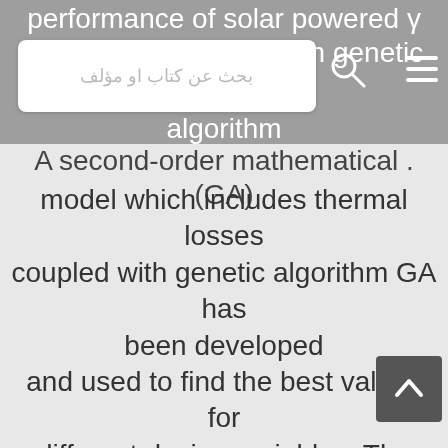performance of solar powered γ Stirling engine based on genetic algorithm .(GA)
A second-order mathematical .(GA) model which includes thermal losses coupled with genetic algorithm GA has been developed and used to find the best values for different design variables. The physical geometry of the γ Stirling engine has been used as an objective variable in the genetic algorithm GA to determine the optimal parameters. The design geometry of the heat exchanger was considered to be the objective variable. The heater slots height, heater effective length, cooler slots